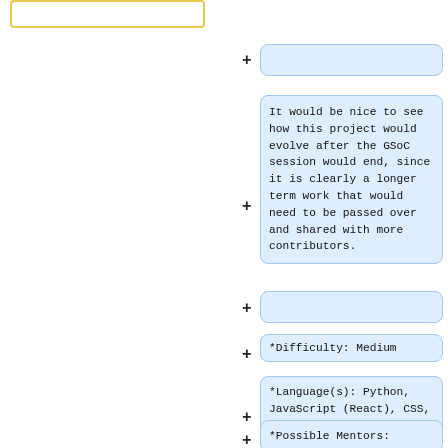[Figure (screenshot): Left panel: yellow-bordered box (collapsed/outline state)]
(empty collapsed box 1 - right column)
It would be nice to see how this project would evolve after the GSoC session would end, since it is clearly a longer term work that would need to be passed over and shared with more contributors.
(empty collapsed box 2 - right column)
*Difficulty: Medium
*Language(s): Python, JavaScript (React), CSS, HTML
*Possible Mentors: Alexander Bokovoy